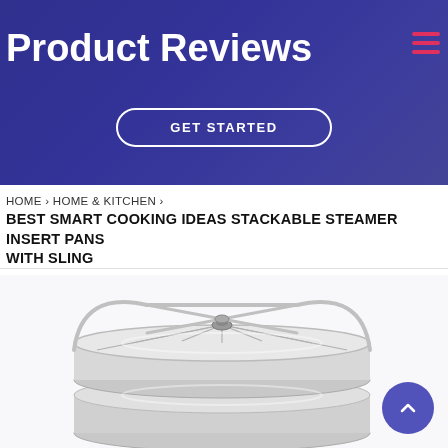Product Reviews
GET STARTED
HOME › HOME & KITCHEN › BEST SMART COOKING IDEAS STACKABLE STEAMER INSERT PANS WITH SLING
[Figure (photo): Stainless steel stackable steamer insert pans with sling handles, showing two circular pans with a metal sling/rack on top, viewed from slightly above.]